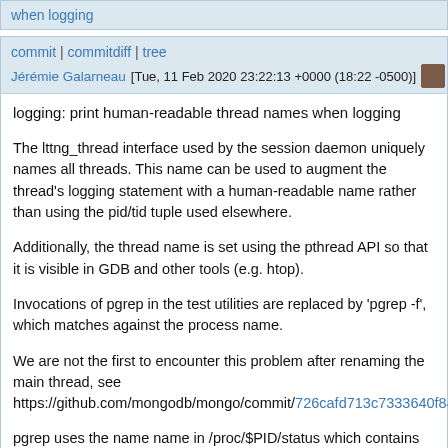when logging
commit | commitdiff | tree
Jérémie Galarneau [Tue, 11 Feb 2020 23:22:13 +0000 (18:22 -0500)]
logging: print human-readable thread names when logging
The lttng_thread interface used by the session daemon uniquely names all threads. This name can be used to augment the thread's logging statement with a human-readable name rather than using the pid/tid tuple used elsewhere.
Additionally, the thread name is set using the pthread API so that it is visible in GDB and other tools (e.g. htop).
Invocations of pgrep in the test utilities are replaced by 'pgrep -f', which matches against the process name.
We are not the first to encounter this problem after renaming the main thread, see https://github.com/mongodb/mongo/commit/726cafd713c7333640f8458ec98a9003101d1e4a99ac2d43d9b1b839587R122
pgrep uses the name name in /proc/$PID/status which contains the thread name, not the executable name. In the case of the sessiond,